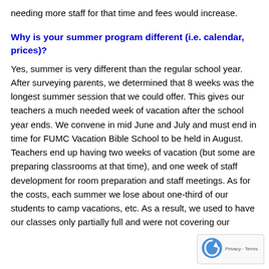needing more staff for that time and fees would increase.
Why is your summer program different (i.e. calendar, prices)?
Yes, summer is very different than the regular school year. After surveying parents, we determined that 8 weeks was the longest summer session that we could offer. This gives our teachers a much needed week of vacation after the school year ends. We convene in mid June and July and must end in time for FUMC Vacation Bible School to be held in August. Teachers end up having two weeks of vacation (but some are preparing classrooms at that time), and one week of staff development for room preparation and staff meetings. As for the costs, each summer we lose about one-third of our students to camp vacations, etc. As a result, we used to have our classes only partially full and were not covering our